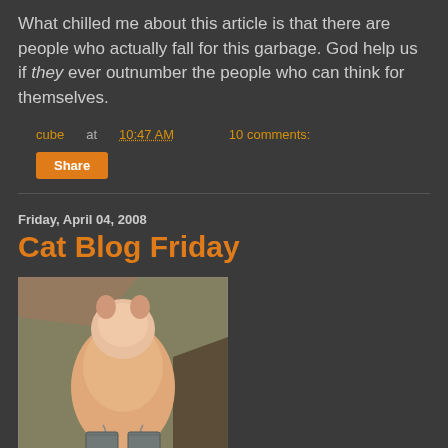What chilled me about this article is that there are people who actually fall for this garbage. God help us if they ever outnumber the people who can think for themselves.
cube at 10:47 AM    10 comments:
Share
Friday, April 04, 2008
Cat Blog Friday
[Figure (photo): A pink/orange fluffy cat viewed from above, sitting on a carpet, with small metal buckets near its paws. A wooden table or furniture is visible in the background.]